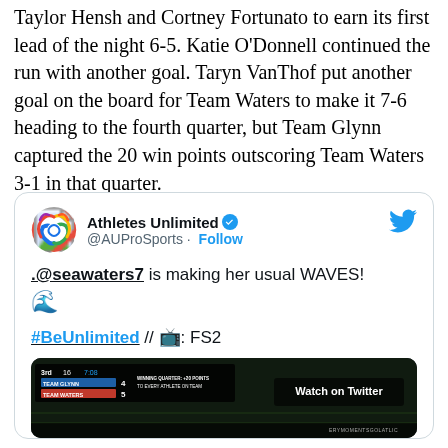Taylor Hensh and Cortney Fortunato to earn its first lead of the night 6-5. Katie O'Donnell continued the run with another goal. Taryn VanThof put another goal on the board for Team Waters to make it 7-6 heading to the fourth quarter, but Team Glynn captured the 20 win points outscoring Team Waters 3-1 in that quarter.
[Figure (screenshot): Embedded tweet from @AUProSports (Athletes Unlimited) with verified badge. Tweet text: '.@seawaters7 is making her usual WAVES! 🌊 #BeUnlimited // 📺: FS2' with a Twitter video thumbnail showing a scoreboard: 3rd quarter, 7:08, Team Glynn 4, Team Waters 5, Winning Quarter +20 points to every athlete on team. Shows 'Watch on Twitter' overlay.]